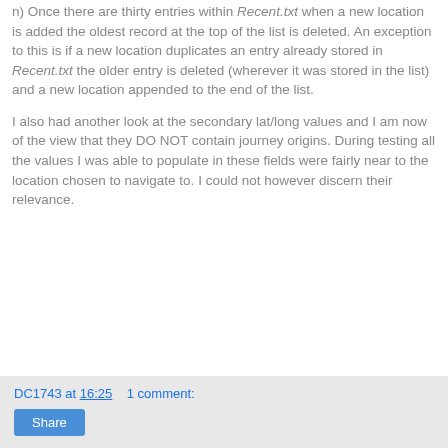n) Once there are thirty entries within Recent.txt when a new location is added the oldest record at the top of the list is deleted. An exception to this is if a new location duplicates an entry already stored in Recent.txt the older entry is deleted (wherever it was stored in the list) and a new location appended to the end of the list.
I also had another look at the secondary lat/long values and I am now of the view that they DO NOT contain journey origins. During testing all the values I was able to populate in these fields were fairly near to the location chosen to navigate to. I could not however discern their relevance.
DC1743 at 16:25    1 comment:    Share